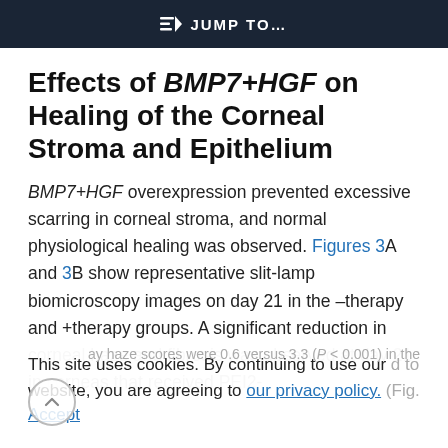JUMP TO…
Effects of BMP7+HGF on Healing of the Corneal Stroma and Epithelium
BMP7+HGF overexpression prevented excessive scarring in corneal stroma, and normal physiological healing was observed. Figures 3A and 3B show representative slit-lamp biomicroscopy images on day 21 in the –therapy and +therapy groups. A significant reduction in corneal haze and fibrosis was observed at day 21 in corneas that received PEI2-
This site uses cookies. By continuing to use our website, you are agreeing to our privacy policy.
Accept